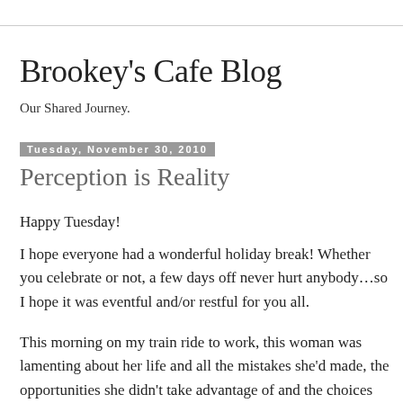Brookey's Cafe Blog
Our Shared Journey.
Tuesday, November 30, 2010
Perception is Reality
Happy Tuesday!
I hope everyone had a wonderful holiday break! Whether you celebrate or not, a few days off never hurt anybody...so I hope it was eventful and/or restful for you all.
This morning on my train ride to work, this woman was lamenting about her life and all the mistakes she'd made, the opportunities she didn't take advantage of and the choices